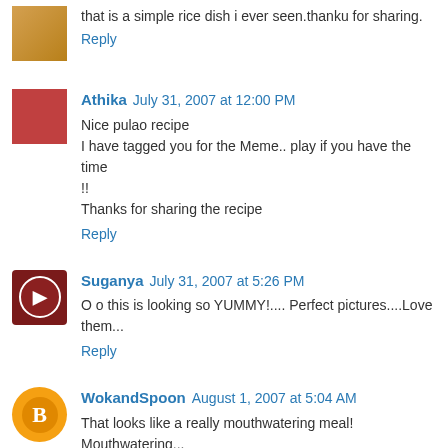that is a simple rice dish i ever seen.thanku for sharing.
Reply
Athika  July 31, 2007 at 12:00 PM
Nice pulao recipe
I have tagged you for the Meme.. play if you have the time !!
Thanks for sharing the recipe
Reply
Suganya  July 31, 2007 at 5:26 PM
O o this is looking so YUMMY!.... Perfect pictures....Love them...
Reply
WokandSpoon  August 1, 2007 at 5:04 AM
That looks like a really mouthwatering meal! Mouthwatering...